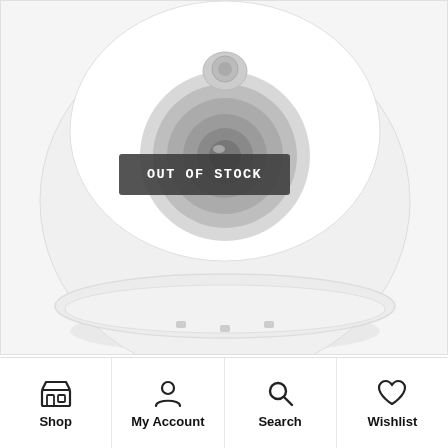[Figure (photo): White dome security camera, front view, on light gray background with OUT OF STOCK overlay badge]
4580 SERIES - 2MP AHD TRUE DETECT  SMART SECURITY S
Shop | My Account | Search | Wishlist